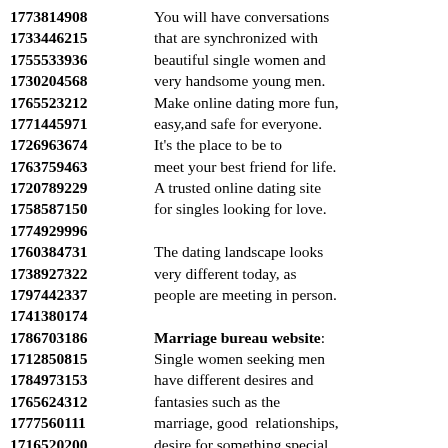1773814908 You will have conversations
1733446215 that are synchronized with
1755533936 beautiful single women and
1730204568 very handsome young men.
1765523212 Make online dating more fun,
1771445971 easy,and safe for everyone.
1726963674 It's the place to be to
1763759463 meet your best friend for life.
1720789229 A trusted online dating site
1758587150 for singles looking for love.
1774929996
1760384731 The dating landscape looks
1738927322 very different today, as
1797442337 people are meeting in person.
1741380174
1786703186 Marriage bureau website:
1712850815 Single women seeking men
1784973153 have different desires and
1765624312 fantasies such as the
1777560111 marriage, good  relationships,
1716520200 desire for something special.
1797787178 Online dating website with
1781514558 thousands of great people.
1752201980 Get out of your busy life,
1744414646 contact thousands of people